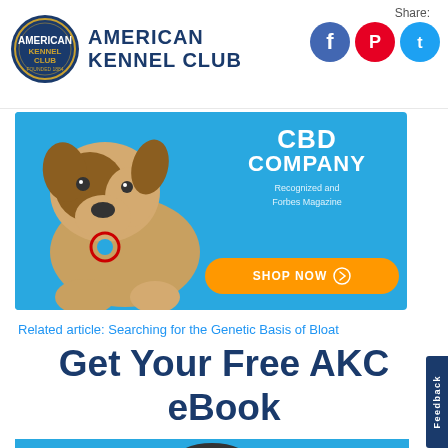American Kennel Club
Share:
[Figure (screenshot): Social share icons: Facebook (blue circle), Pinterest (red circle), Twitter (light blue circle)]
[Figure (photo): Advertisement banner with blue background showing a dog, CBD COMPANY text, Forbes Magazine recognition, and orange SHOP NOW button]
Related article: Searching for the Genetic Basis of Bloat
Get Your Free AKC eBook
[Figure (photo): Blue background with partial view of a dog, bottom portion of eBook promotional image]